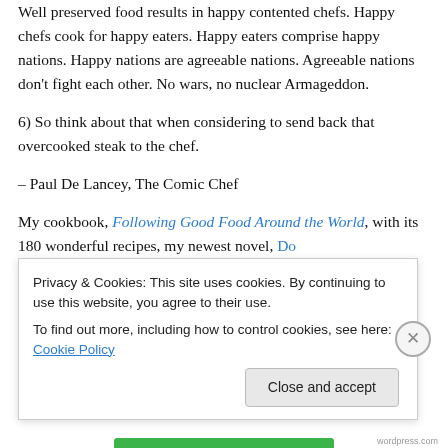Well preserved food results in happy contented chefs. Happy chefs cook for happy eaters. Happy eaters comprise happy nations. Happy nations are agreeable nations. Agreeable nations don't fight each other. No wars, no nuclear Armageddon.
6) So think about that when considering to send back that overcooked steak to the chef.
– Paul De Lancey, The Comic Chef
My cookbook, Following Good Food Around the World, with its 180 wonderful recipes, my newest novel, Do…
Privacy & Cookies: This site uses cookies. By continuing to use this website, you agree to their use.
To find out more, including how to control cookies, see here: Cookie Policy
Close and accept